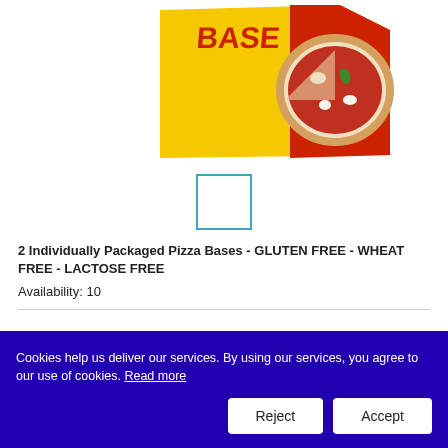[Figure (photo): Pizza base product box - yellow and red packaging showing 'BASE CON PASTA MADRE WITH SOURDOUGH 2 PIZZAS' with a pizza image on the box]
[Figure (photo): Small thumbnail image selector box with blue border (empty/placeholder)]
2 Individually Packaged Pizza Bases - GLUTEN FREE - WHEAT FREE - LACTOSE FREE
Availability: 10
Cookies help us deliver our services. By using our services, you agree to our use of cookies. Read more